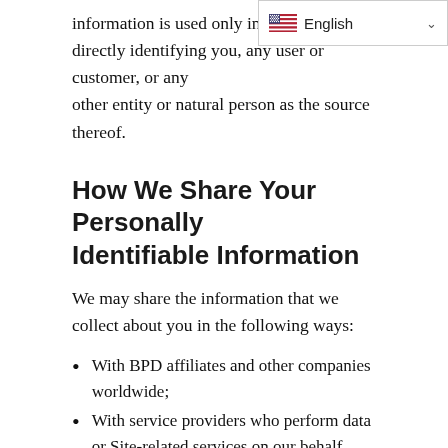information is used only in an ag... directly identifying you, any user or customer, or any other entity or natural person as the source thereof.
How We Share Your Personally Identifiable Information
We may share the information that we collect about you in the following ways:
With BPD affiliates and other companies worldwide;
With service providers who perform data or Site-related services on our behalf (e.g., email, hosting, maintenance, backup, analysis, processing payments, fulfilling orders, delivering packages, etc.).  Any such service providers will be under an obligation to us to maintain the confidentiality of your Personally Identifiable Information;